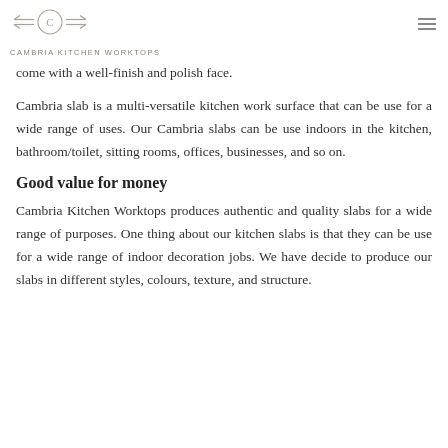CAMBRIA KITCHEN WORKTOPS
come with a well-finish and polish face.
Cambria slab is a multi-versatile kitchen work surface that can be use for a wide range of uses. Our Cambria slabs can be use indoors in the kitchen, bathroom/toilet, sitting rooms, offices, businesses, and so on.
Good value for money
Cambria Kitchen Worktops produces authentic and quality slabs for a wide range of purposes. One thing about our kitchen slabs is that they can be use for a wide range of indoor decoration jobs. We have decide to produce our slabs in different styles, colours, texture, and structure.